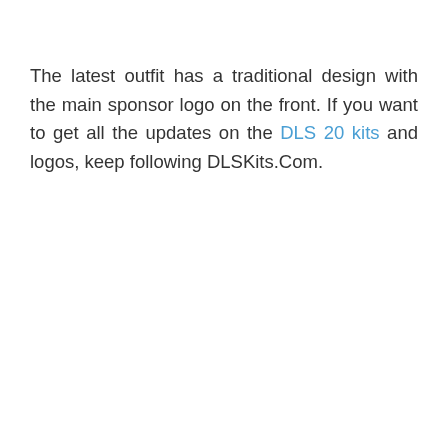The latest outfit has a traditional design with the main sponsor logo on the front. If you want to get all the updates on the DLS 20 kits and logos, keep following DLSKits.Com.